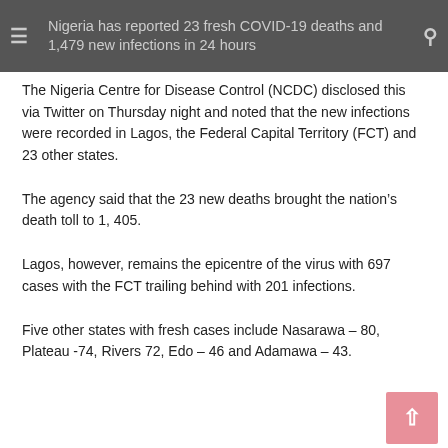Nigeria has reported 23 fresh COVID-19 deaths and 1,479 new infections in 24 hours
The Nigeria Centre for Disease Control (NCDC) disclosed this via Twitter on Thursday night and noted that the new infections were recorded in Lagos, the Federal Capital Territory (FCT) and 23 other states.
The agency said that the 23 new deaths brought the nation's death toll to 1, 405.
Lagos, however, remains the epicentre of the virus with 697 cases with the FCT trailing behind with 201 infections.
Five other states with fresh cases include Nasarawa – 80, Plateau -74, Rivers 72, Edo – 46 and Adamawa – 43.